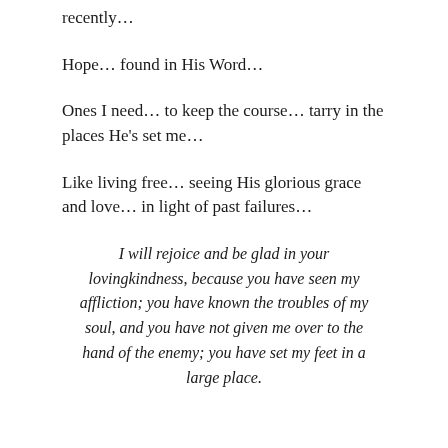recently…
Hope… found in His Word…
Ones I need… to keep the course… tarry in the places He's set me…
Like living free… seeing His glorious grace and love… in light of past failures…
I will rejoice and be glad in your lovingkindness, because you have seen my affliction; you have known the troubles of my soul, and you have not given me over to the hand of the enemy; you have set my feet in a large place.